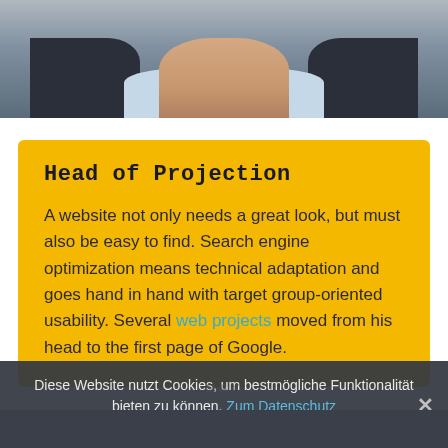[Figure (photo): Partial photo of a person in a dark jacket and light blue shirt, cropped at the neck/chest area, visible at top of page]
Head of Projection
A website not only needs a great look, but must also be easy to find. Search engine optimization means technical adaptation and goes hand in hand with target group-oriented usability. Several web projects moved from his head to the first page of Google.
Diese Website nutzt Cookies, um bestmögliche Funktionalität bieten zu können. Zum Datenschutz
OK